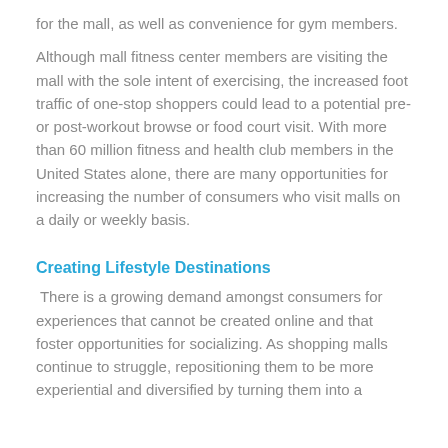for the mall, as well as convenience for gym members.
Although mall fitness center members are visiting the mall with the sole intent of exercising, the increased foot traffic of one-stop shoppers could lead to a potential pre- or post-workout browse or food court visit. With more than 60 million fitness and health club members in the United States alone, there are many opportunities for increasing the number of consumers who visit malls on a daily or weekly basis.
Creating Lifestyle Destinations
There is a growing demand amongst consumers for experiences that cannot be created online and that foster opportunities for socializing. As shopping malls continue to struggle, repositioning them to be more experiential and diversified by turning them into a